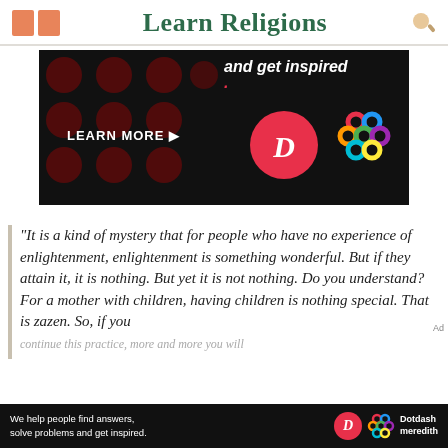Learn Religions
[Figure (screenshot): Advertisement banner with dark background, dots pattern, text 'and get inspired.' and 'LEARN MORE' with Dotdash and meredith logos]
"It is a kind of mystery that for people who have no experience of enlightenment, enlightenment is something wonderful. But if they attain it, it is nothing. But yet it is not nothing. Do you understand? For a mother with children, having children is nothing special. That is zazen. So, if you continue this practice, more and more you will
[Figure (screenshot): Bottom advertisement bar: 'We help people find answers, solve problems and get inspired.' with Dotdash meredith logo]